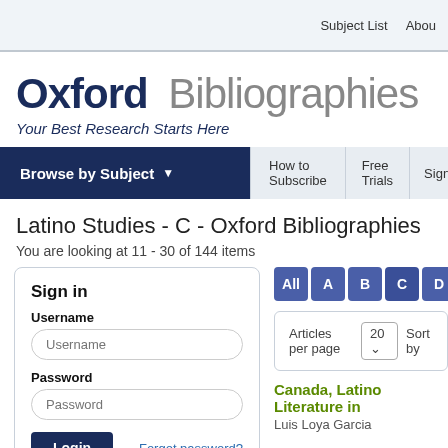Subject List   About
Oxford Bibliographies
Your Best Research Starts Here
Browse by Subject   How to Subscribe   Free Trials   Sign
Latino Studies - C - Oxford Bibliographies
You are looking at 11 - 30 of 144 items
[Figure (screenshot): Alphabetical navigation buttons: All A B C D E F G]
Articles per page  20  Sort by
Sign in
Username
Password
Login   Forgot password?
Canada, Latino Literature in
Luis Loya Garcia